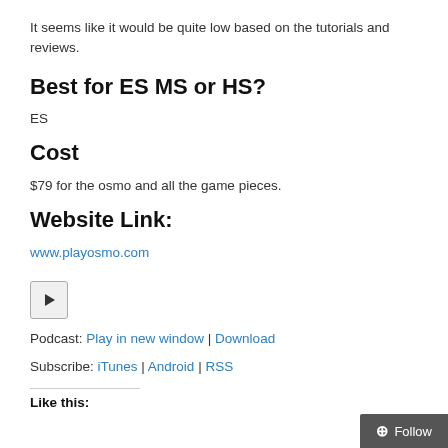It seems like it would be quite low based on the tutorials and reviews.
Best for ES MS or HS?
ES
Cost
$79 for the osmo and all the game pieces.
Website Link:
www.playosmo.com
[Figure (other): Play button icon for podcast audio player]
Podcast: Play in new window | Download
Subscribe: iTunes | Android | RSS
Like this: